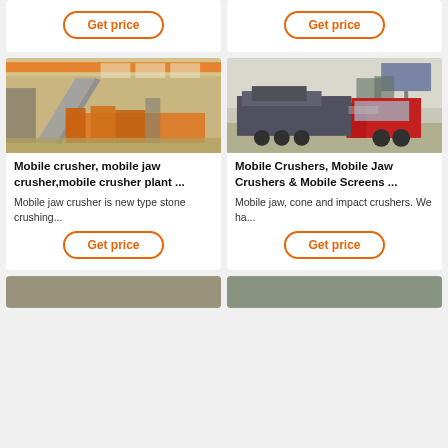[Figure (photo): Top-left product card with Get price button (partial, top cut off)]
[Figure (photo): Top-right product card with Get price button (partial, top cut off)]
[Figure (photo): Industrial factory interior showing conveyor/screening equipment with orange structure]
Mobile crusher, mobile jaw crusher,mobile crusher plant ...
Mobile jaw crusher is new type stone crushing...
[Figure (photo): Red truck carrying mobile crusher unit on road, billboard visible in background]
Mobile Crushers, Mobile Jaw Crushers & Mobile Screens ...
Mobile jaw, cone and impact crushers. We ha...
[Figure (photo): Bottom-left partial image of industrial equipment]
[Figure (photo): Bottom-right partial image of industrial equipment]